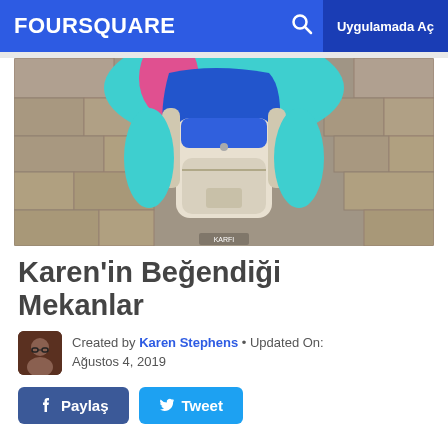FOURSQUARE   Uygulamada Aç
[Figure (photo): Person wearing a blue and white backpack, standing against a stone wall. Photo taken from above showing the top of the backpack.]
Karen'in Beğendiği Mekanlar
Created by Karen Stephens • Updated On: Ağustos 4, 2019
Paylaş   Tweet